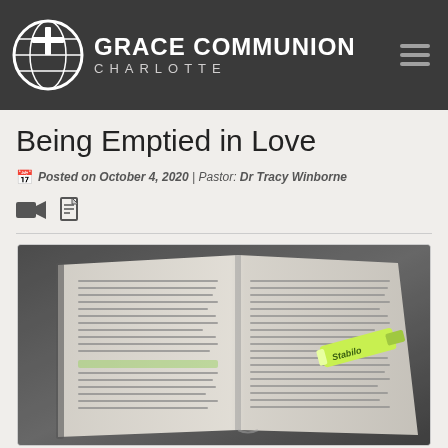GRACE COMMUNION CHARLOTTE
Being Emptied in Love
Posted on October 4, 2020 | Pastor: Dr Tracy Winborne
[Figure (photo): Open Bible with highlighted text and a green highlighter marker resting on the page, photographed on a dark surface in muted tones]